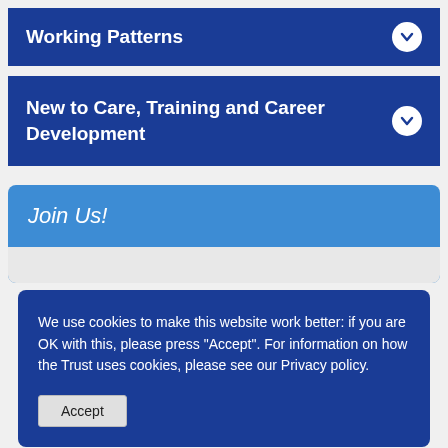Working Patterns
New to Care, Training and Career Development
Join Us!
We use cookies to make this website work better: if you are OK with this, please press "Accept". For information on how the Trust uses cookies, please see our Privacy policy.
Accept